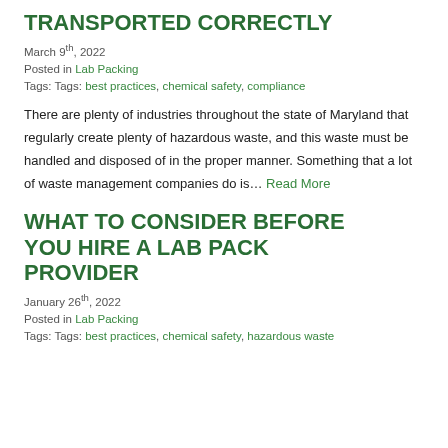TRANSPORTED CORRECTLY
March 9th, 2022
Posted in Lab Packing
Tags: Tags: best practices, chemical safety, compliance
There are plenty of industries throughout the state of Maryland that regularly create plenty of hazardous waste, and this waste must be handled and disposed of in the proper manner. Something that a lot of waste management companies do is… Read More
WHAT TO CONSIDER BEFORE YOU HIRE A LAB PACK PROVIDER
January 26th, 2022
Posted in Lab Packing
Tags: Tags: best practices, chemical safety, hazardous waste